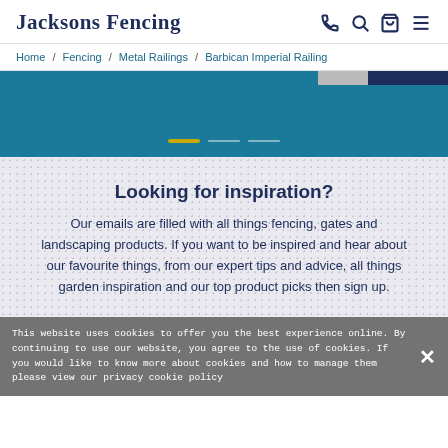Jacksons Fencing
Home / Fencing / Metal Railings / Barbican Imperial Railing
[Figure (screenshot): Blue image slider area with navigation dots (one gold, two grey) and two tab rectangles at top right]
Looking for inspiration?
Our emails are filled with all things fencing, gates and landscaping products. If you want to be inspired and hear about our favourite things, from our expert tips and advice, all things garden inspiration and our top product picks then sign up.
This website uses cookies to offer you the best experience online. By continuing to use our website, you agree to the use of cookies. If you would like to know more about cookies and how to manage them please view our privacy cookie policy